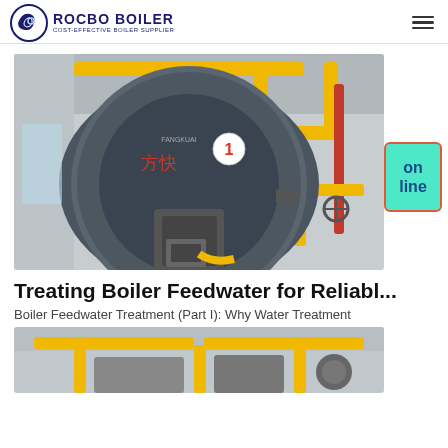ROCBO BOILER — COST-EFFECTIVE BOILER SUPPLIER
[Figure (photo): Industrial boiler (Fangkuai brand) with circular front face showing number 1 badge and Chinese characters, with yellow gas pipes on right side, inside a factory building]
Treating Boiler Feedwater for Reliabl...
Boiler Feedwater Treatment (Part I): Why Water Treatment
[Figure (photo): Partial view of industrial boiler piping and equipment, yellow pipes visible]